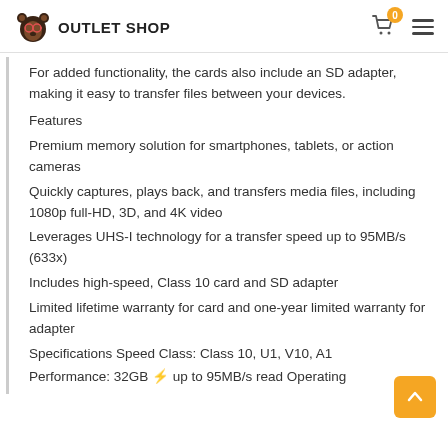OUTLET SHOP
For added functionality, the cards also include an SD adapter, making it easy to transfer files between your devices.
Features
Premium memory solution for smartphones, tablets, or action cameras
Quickly captures, plays back, and transfers media files, including 1080p full-HD, 3D, and 4K video
Leverages UHS-I technology for a transfer speed up to 95MB/s (633x)
Includes high-speed, Class 10 card and SD adapter
Limited lifetime warranty for card and one-year limited warranty for adapter
Specifications Speed Class: Class 10, U1, V10, A1
Performance: 32GB ⬡ up to 95MB/s read Operating